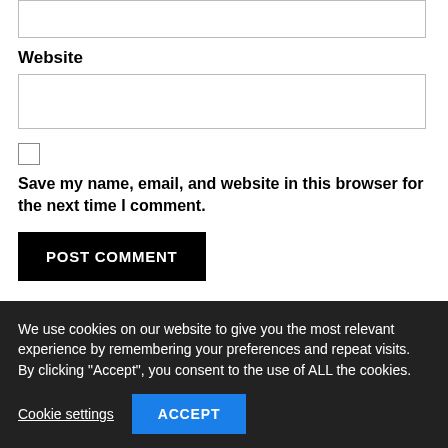Website
Save my name, email, and website in this browser for the next time I comment.
POST COMMENT
We use cookies on our website to give you the most relevant experience by remembering your preferences and repeat visits. By clicking "Accept", you consent to the use of ALL the cookies.
Cookie settings
ACCEPT